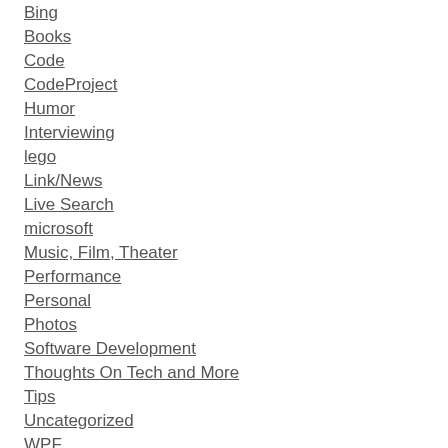Bing
Books
Code
CodeProject
Humor
Interviewing
lego
Link/News
Live Search
microsoft
Music, Film, Theater
Performance
Personal
Photos
Software Development
Thoughts On Tech and More
Tips
Uncategorized
WPF